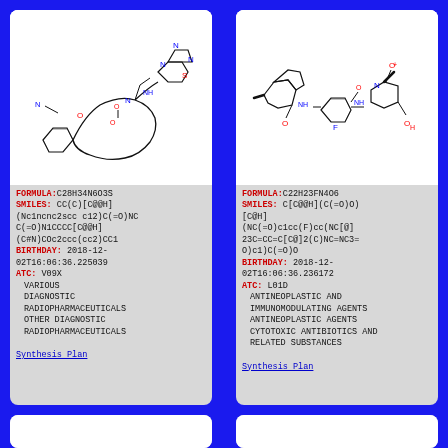[Figure (illustration): Chemical structure diagram of compound with formula C28H34N6O3S, showing a complex organic molecule with benzothiazole and piperidine rings]
FORMULA:C28H34N6O3S
SMILES: CC(C)[C@@H](Nc1ncnc2scc c12)C(=O)NCC(=O)N1CCCC[C@@H](C#N)COc2ccc(cc2)CC1
BIRTHDAY: 2018-12-02T16:06:36.225039
ATC: V09X
  VARIOUS DIAGNOSTIC RADIOPHARMACEUTICALS
  OTHER DIAGNOSTIC RADIOPHARMACEUTICALS
Synthesis Plan
[Figure (illustration): Chemical structure diagram of compound with formula C22H23FN4O6, showing a complex organic molecule with fluorobenzene and piperazine rings]
FORMULA:C22H23FN4O6
SMILES: C[C@@H](C(=O)O)[C@H](NC(=O)c1cc(F)cc(NC[@]23C=CC=C[C@]2(C)NC=NC3=O)c1)C(=O)O
BIRTHDAY: 2018-12-02T16:06:36.236172
ATC: L01D
  ANTINEOPLASTIC AND IMMUNOMODULATING AGENTS
  ANTINEOPLASTIC AGENTS
  CYTOTOXIC ANTIBIOTICS AND RELATED SUBSTANCES
Synthesis Plan